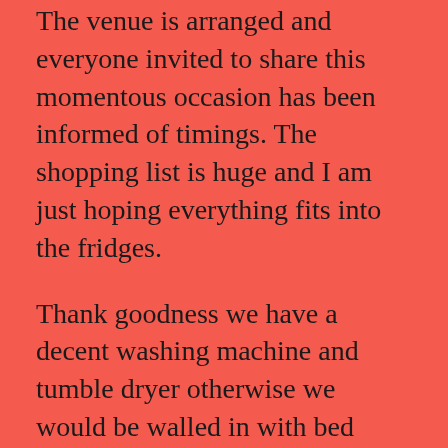The venue is arranged and everyone invited to share this momentous occasion has been informed of timings. The shopping list is huge and I am just hoping everything fits into the fridges.
Thank goodness we have a decent washing machine and tumble dryer otherwise we would be walled in with bed linens and towels but hopefully with fingers crossed, a very efficient new boiler system in place. Although as I am writing disaster has struck and we have no central heating again with the hot water still running on the electric heater in the water tank. Oh dear! What is it with anything to do with building works, nothing ever quite runs to